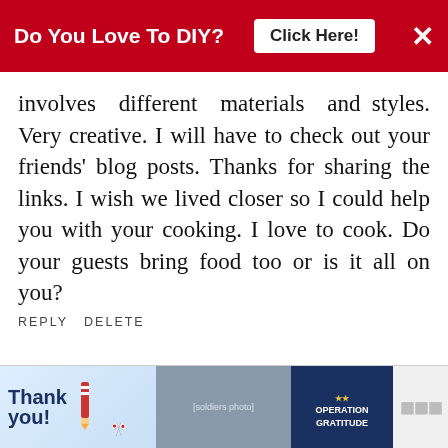Do You Love To DIY? Click Here! ×
involves different materials and styles. Very creative. I will have to check out your friends' blog posts. Thanks for sharing the links. I wish we lived closer so I could help you with your cooking. I love to cook. Do your guests bring food too or is it all on you?
REPLY DELETE
REPLIES
WHAT'S NEXT → Thankful, Grateful,...
Kim
NOVEMBER 9, 2015 AT 12:27 PM
[Figure (screenshot): Advertisement banner: 'Thank you!' with American flag imagery, soldiers photo, Operation Gratitude logo, and food-related content on the right]